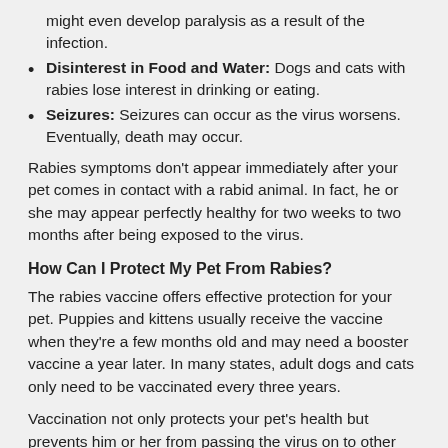might even develop paralysis as a result of the infection.
Disinterest in Food and Water: Dogs and cats with rabies lose interest in drinking or eating.
Seizures: Seizures can occur as the virus worsens. Eventually, death may occur.
Rabies symptoms don't appear immediately after your pet comes in contact with a rabid animal. In fact, he or she may appear perfectly healthy for two weeks to two months after being exposed to the virus.
How Can I Protect My Pet From Rabies?
The rabies vaccine offers effective protection for your pet. Puppies and kittens usually receive the vaccine when they're a few months old and may need a booster vaccine a year later. In many states, adult dogs and cats only need to be vaccinated every three years.
Vaccination not only protects your pet's health but prevents him or her from passing the virus on to other animals or to people. During World Rabi... offices and